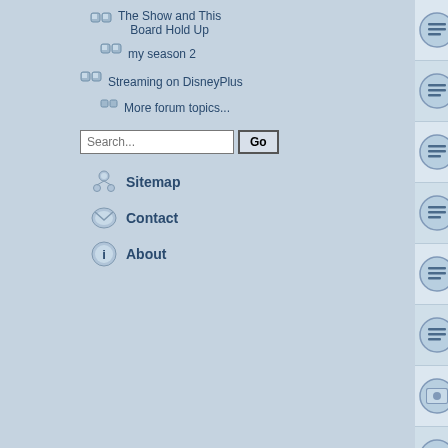The Show and This Board Hold Up
my season 2
Streaming on DisneyPlus
More forum topics...
Sitemap
Contact
About
anyone know how i can change add — Last post by tactoe « Feb 4th 2004, 8:04 am
Taking this Bull(s***) by the Proverb — Last post by Foggy « Feb 3rd 2004, 7:42 am — Replies: 28
Final action regarding outstanding — Last post by Jason R « Jan 20th 2004, 4:56 p
This cannot be true: AU is back (**C — Last post by vapspwi « Dec 5th 2003, 12:20 p — Replies: 29
New Phone Number on AU.com — Last post by trustella « Oct 29th 2003, 6:01 pr
AU's Office in Sac - Still Operating? — Last post by trustella « Oct 29th 2003, 5:27 pr
Contact details for Ross? — Last post by Sascha « Oct 22nd 2003, 6:25 a — Replies: 26
AU.com on NBC News in NY tonigh — Last post by So-Called Loon « Oct 12th 2003, — Replies: 5
More Ross Rojek securities fraud. T — Last post by So-Called Loon « Oct 12th 2003, — Replies: 6
Update Needed: Did everyone get t — Last post by GanEA « Oct 11th 2003, 12:0